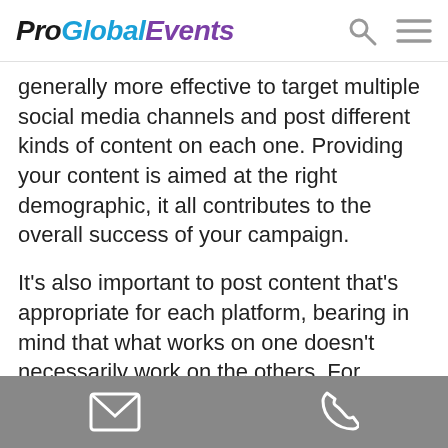ProGlobalEvents
generally more effective to target multiple social media channels and post different kinds of content on each one. Providing your content is aimed at the right demographic, it all contributes to the overall success of your campaign.
It's also important to post content that's appropriate for each platform, bearing in mind that what works on one doesn't necessarily work on the others. For instance:
Promote the event on your company's LinkedIn